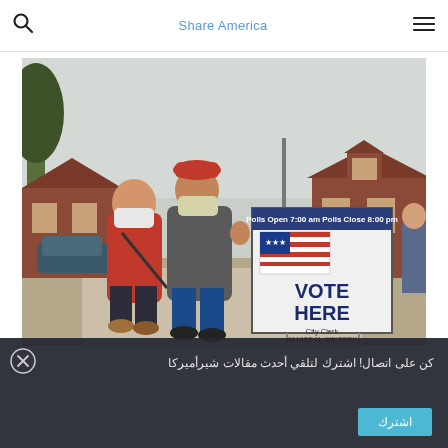Share America
[Figure (photo): Two women wearing face masks walking on a sidewalk toward the camera near a 'VOTE HERE - City Clerk JANICE M. WINFREY' sign. One wears a red jacket, the other a grey coat with a red hat. Suburban neighborhood background with bare trees and brick houses.]
كن على اتصال! اشترك لتلقي أحدث مقالات شيرأميركا
اشترك